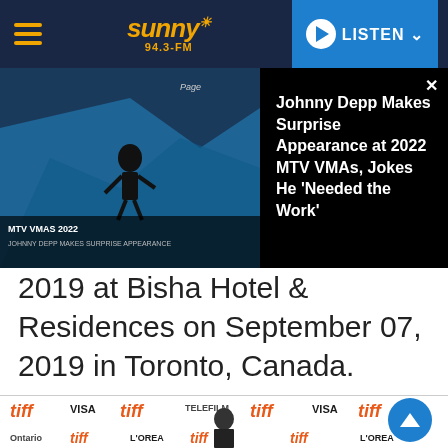Sunny 94.3-FM | LISTEN
[Figure (screenshot): MTV VMAs 2022 video thumbnail showing performer on stage with text overlay 'MTV VMAS 2022 - JOHNNY DEPP MAKES SURPRISE APPEARANCE']
Johnny Depp Makes Surprise Appearance at 2022 MTV VMAs, Jokes He 'Needed the Work'
2019 at Bisha Hotel & Residences on September 07, 2019 in Toronto, Canada.
[Figure (photo): Person standing at TIFF (Toronto International Film Festival) red carpet event with TIFF, VISA, L'Oreal, Telefilm, and Toronto branded step-and-repeat backdrop]